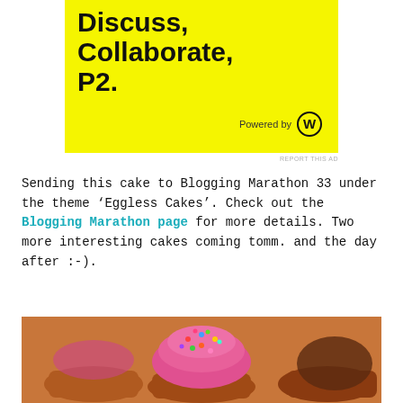[Figure (illustration): Yellow advertisement banner for WordPress P2 theme with text 'Discuss, Collaborate, P2.' and 'Powered by WordPress' logo]
REPORT THIS AD
Sending this cake to Blogging Marathon 33 under the theme ‘Eggless Cakes’. Check out the Blogging Marathon page for more details. Two more interesting cakes coming tomm. and the day after :-).
[Figure (photo): Close-up photo of colorful cupcakes with pink frosting and rainbow sprinkles in brown cups]